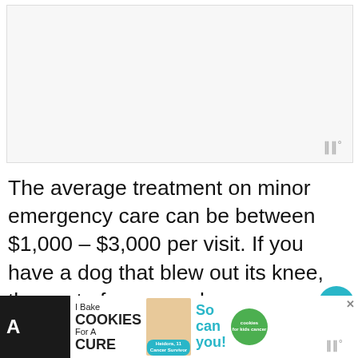[Figure (other): Advertisement placeholder — light gray rectangle with a watermark logo (three vertical bars with a degree symbol) in the bottom right corner]
The average treatment on minor emergency care can be between $1,000 – $3,000 per visit. If you have a dog that blew out its knee, the cost of surgery alone can run as high as $5,000.
[Figure (other): Cookie advertisement banner at the bottom: 'I Bake COOKIES For A CURE' with a photo of a girl, 'So can you!' text, Cookies for Kids Cancer badge, and a close button]